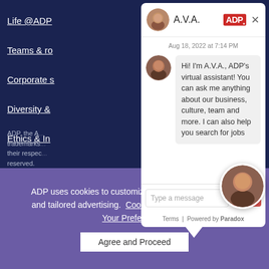Life @ADP
Teams & ro...
Corporate s...
Diversity &...
Ethics & In...
ADP, the ADP logo are registered trademarks... their respective... reserved.
[Figure (screenshot): A.V.A. chat widget from ADP showing virtual assistant interface. Header shows avatar, 'A.V.A.' title, ADP logo, and close X. Timestamp: Aug 18, 2022 at 7:14 PM. Bot message: 'Hi! I'm A.V.A., ADP's virtual assistant! You can ask me anything about our business, culture, team and more. I can also help you search for jobs'. Input box 'Type a message' with red 'Send' button. Footer: 'Terms | Powered by Paradox'.]
ADP uses cookies to customize experiences on our site and tailored advertising.  Cookie Privacy Statement  Set Your Preferences
Agree and Proceed